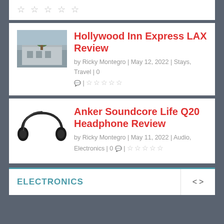[Figure (photo): Star rating icons (5 empty stars) at top of page]
[Figure (photo): Photo of Hollywood Inn Express LAX hotel building with tree in front]
Hollywood Inn Express LAX Review
by Ricky Montegro | May 12, 2022 | Stays, Travel | 0 💬 | ☆☆☆☆☆
[Figure (photo): Photo of Anker Soundcore Life Q20 black headphones]
Anker Soundcore Life Q20 Headphone Review
by Ricky Montegro | May 11, 2022 | Audio, Electronics | 0 💬 | ☆☆☆☆☆
ELECTRONICS